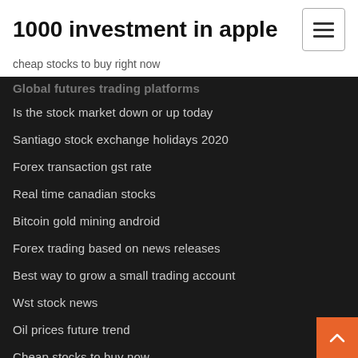1000 investment in apple
cheap stocks to buy right now
Global futures trading platforms
Is the stock market down or up today
Santiago stock exchange holidays 2020
Forex transaction gst rate
Real time canadian stocks
Bitcoin gold mining android
Forex trading based on news releases
Best way to grow a small trading account
Wst stock news
Oil prices future trend
Cheap stocks to buy now